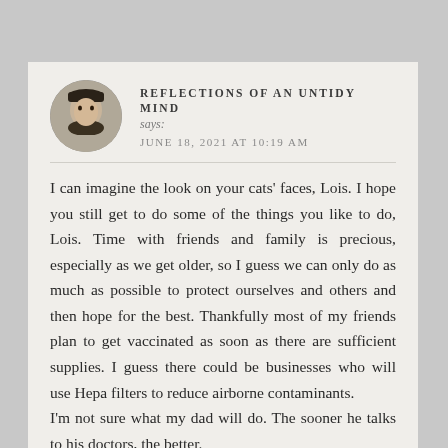[Figure (photo): Circular avatar photo of a person wearing a hat and scarf, dark tones]
REFLECTIONS OF AN UNTIDY MIND says:
JUNE 18, 2021 AT 10:19 AM
I can imagine the look on your cats' faces, Lois. I hope you still get to do some of the things you like to do, Lois. Time with friends and family is precious, especially as we get older, so I guess we can only do as much as possible to protect ourselves and others and then hope for the best. Thankfully most of my friends plan to get vaccinated as soon as there are sufficient supplies. I guess there could be businesses who will use Hepa filters to reduce airborne contaminants.
I'm not sure what my dad will do. The sooner he talks to his doctors, the better.